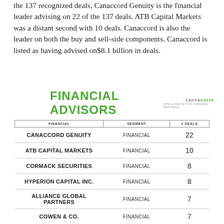the 137 recognized deals, Canaccord Genuity is the financial leader advising on 22 of the 137 deals. ATB Capital Markets was a distant second with 10 deals. Canaccord is also the leader on both the buy and sell-side components. Canaccord is listed as having advised on$8.1 billion in deals.
FINANCIAL ADVISORS
| FINANCIAL | SEGMENT | # DEALS |
| --- | --- | --- |
| CANACCORD GENUITY | FINANCIAL | 22 |
| ATB CAPITAL MARKETS | FINANCIAL | 10 |
| CORMACK SECURITIES | FINANCIAL | 8 |
| HYPERION CAPITAL INC. | FINANCIAL | 8 |
| ALLIANCE GLOBAL PARTNERS | FINANCIAL | 7 |
| COWEN & CO. | FINANCIAL | 7 |
| EIGHT CAPITAL | FINANCIAL | 5 |
| KRONOS CAPITAL PARTNERS | FINANCIAL | 5 |
| ROTHSCHILD & CO. | FINANCIAL | 4 |